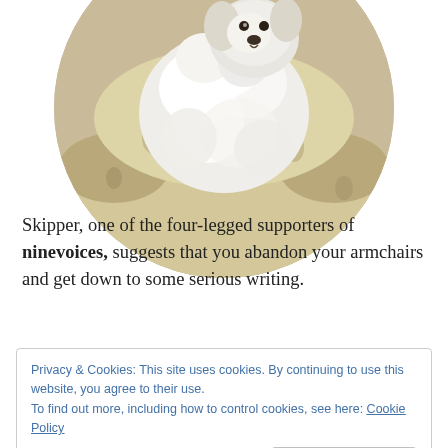[Figure (photo): A fluffy white dog (Skipper) sitting in a floral-patterned armchair, shown in a circular crop. The chair has cream and olive floral fabric.]
Skipper, one of the four-legged supporters of ninevoices, suggests that you abandon your armchairs and get down to some serious writing.
Privacy & Cookies: This site uses cookies. By continuing to use this website, you agree to their use.
To find out more, including how to control cookies, see here: Cookie Policy
Close and accept